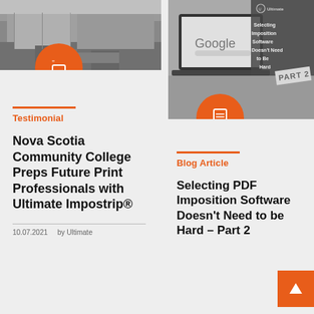[Figure (photo): Black and white photo of a building/campus with street, partially cropped at top of left column]
[Figure (illustration): Orange circle with white quote/speech bubble icon]
Testimonial
Nova Scotia Community College Preps Future Print Professionals with Ultimate Impostrip®
10.07.2021     by Ultimate
[Figure (screenshot): Screenshot of laptop showing Google search page, with gray overlay box showing 'Selecting Imposition Software Doesn't Need to Be Hard' and 'PART 2' badge]
[Figure (illustration): Orange circle with white document/lines icon]
Blog Article
Selecting PDF Imposition Software Doesn't Need to be Hard – Part 2